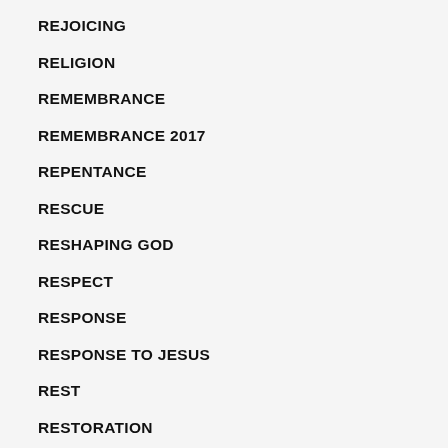REJOICING
RELIGION
REMEMBRANCE
REMEMBRANCE 2017
REPENTANCE
RESCUE
RESHAPING GOD
RESPECT
RESPONSE
RESPONSE TO JESUS
REST
RESTORATION
RESURRECTION
RETURN
RETURN OF JESUS